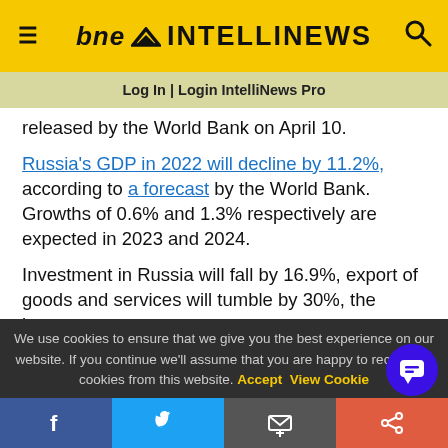bne INTELLINEWS
Log In | Login IntelliNews Pro
released by the World Bank on April 10.
Russia's GDP in 2022 will decline by 11.2%, according to a forecast by the World Bank. Growths of 0.6% and 1.3% respectively are expected in 2023 and 2024.
Investment in Russia will fall by 16.9%, export of goods and services will tumble by 30%, the import
We use cookies to ensure that we give you the best experience on our website. If you continue we'll assume that you are happy to receive all cookies from this website. Accept   View Cookie